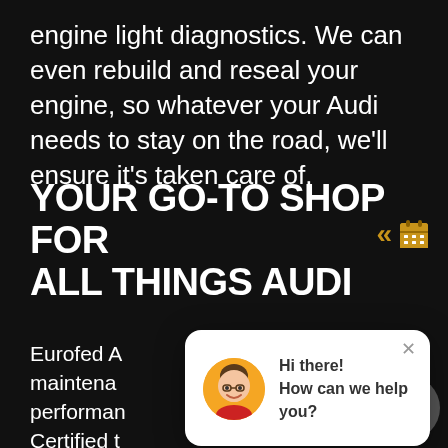engine light diagnostics. We can even rebuild and reseal your engine, so whatever your Audi needs to stay on the road, we'll ensure it's taken care of.
YOUR GO-TO SHOP FOR ALL THINGS AUDI
Eurofed A... maintenance... performance... Certified ... parts, and equipment on the market, so we can give your Audi care that's just as good as — not better than — any dealership. It's why back all of our non-performance services with 24-month/24,000-mile warranty that lasts until
[Figure (screenshot): Chat popup with avatar photo of a smiling woman, text 'Hi there! How can we help you?' and a close X button]